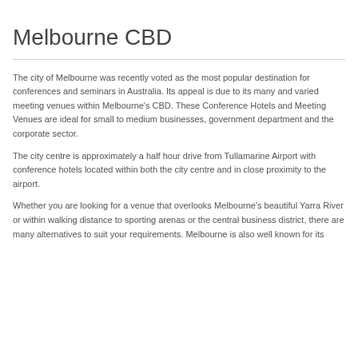Melbourne CBD
The city of Melbourne was recently voted as the most popular destination for conferences and seminars in Australia. Its appeal is due to its many and varied meeting venues within Melbourne's CBD. These Conference Hotels and Meeting Venues are ideal for small to medium businesses, government department and the corporate sector.
The city centre is approximately a half hour drive from Tullamarine Airport with conference hotels located within both the city centre and in close proximity to the airport.
Whether you are looking for a venue that overlooks Melbourne's beautiful Yarra River or within walking distance to sporting arenas or the central business district, there are many alternatives to suit your requirements. Melbourne is also well known for its